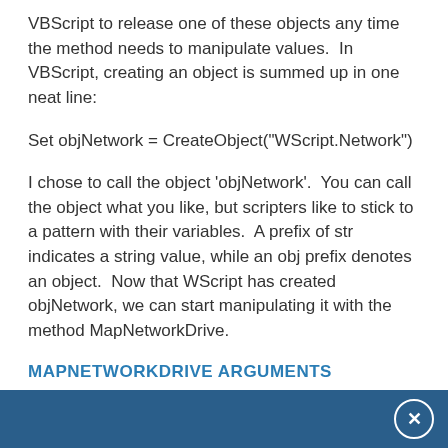VBScript to release one of these objects any time the method needs to manipulate values.  In VBScript, creating an object is summed up in one neat line:
Set objNetwork = CreateObject("WScript.Network")
I chose to call the object ‘objNetwork’.  You can call the object what you like, but scripters like to stick to a pattern with their variables.  A prefix of str indicates a string value, while an obj prefix denotes an object.  Now that WScript has created objNetwork, we can start manipulating it with the method MapNetworkDrive.
MAPNETWORKDRIVE ARGUMENTS
When ever you employ a VBScript method to